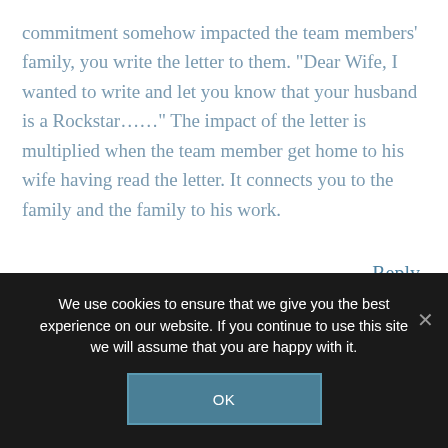commitment somehow impacted the team members' family, you write the letter to them.  "Dear Wife,  I wanted to write and let you know that your husband is a  Rockstar……"  The impact of the letter is multiplied when the team member get home to his wife having read the letter.  It connects you to the family and the family to his work.
Reply
We use cookies to ensure that we give you the best experience on our website. If you continue to use this site we will assume that you are happy with it.
OK